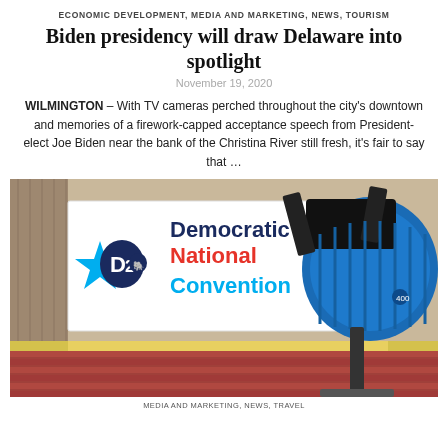ECONOMIC DEVELOPMENT, MEDIA AND MARKETING, NEWS, TOURISM
Biden presidency will draw Delaware into spotlight
November 19, 2020
WILMINGTON – With TV cameras perched throughout the city's downtown and memories of a firework-capped acceptance speech from President-elect Joe Biden near the bank of the Christina River still fresh, it's fair to say that …
[Figure (photo): Photo of a Democratic National Convention sign on a building with a large blue spotlight/film light in the foreground right. The DNC sign features the 2020 logo with a star and elephant icon, reading 'Democratic National Convention' in blue and red text.]
MEDIA AND MARKETING, NEWS, TRAVEL